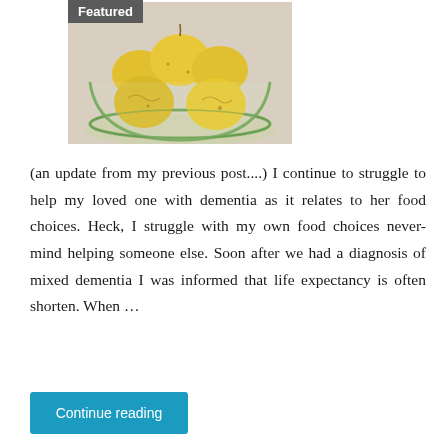Featured
[Figure (photo): A glass bowl filled with yellow quince fruits photographed from slightly above against a light background.]
(an update from my previous post....) I continue to struggle to help my loved one with dementia as it relates to her food choices. Heck, I struggle with my own food choices never-mind helping someone else. Soon after we had a diagnosis of mixed dementia I was informed that life expectancy is often shorten. When …
Continue reading